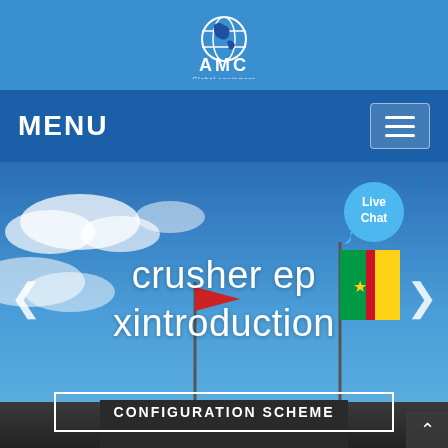[Figure (logo): AMC Global company logo with globe icon on blue header background]
MENU
[Figure (photo): Outdoor scene with flags including Cameroon flag against blue cloudy sky, with hero text 'crusher ep xintroduction' and a 'CONFIGURATION SCHEME' button. Live Chat bubble visible top right.]